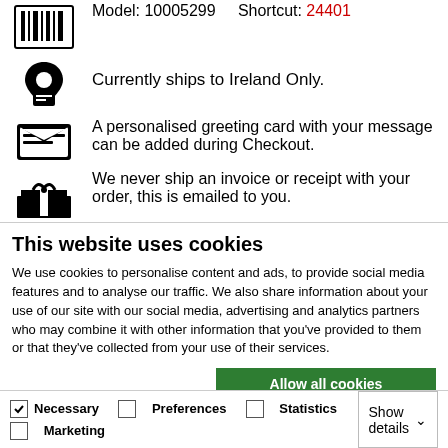Model: 10005299   Shortcut: 24401
Currently ships to Ireland Only.
A personalised greeting card with your message can be added during Checkout.
We never ship an invoice or receipt with your order, this is emailed to you.
All orders are shipped direct from our warehouse
This website uses cookies
We use cookies to personalise content and ads, to provide social media features and to analyse our traffic. We also share information about your use of our site with our social media, advertising and analytics partners who may combine it with other information that you've provided to them or that they've collected from your use of their services.
Allow all cookies
Allow selection
Use necessary cookies only
Necessary  Preferences  Statistics  Marketing  Show details